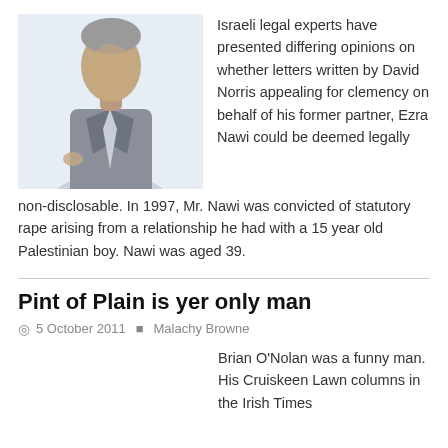[Figure (photo): A man in a suit photographed against a light blue-grey background, partially visible as a portrait-style image.]
Israeli legal experts have presented differing opinions on whether letters written by David Norris appealing for clemency on behalf of his former partner, Ezra Nawi could be deemed legally non-disclosable. In 1997, Mr. Nawi was convicted of statutory rape arising from a relationship he had with a 15 year old Palestinian boy. Nawi was aged 39.
Pint of Plain is yer only man
5 October 2011   Malachy Browne
Brian O'Nolan was a funny man. His Cruiskeen Lawn columns in the Irish Times